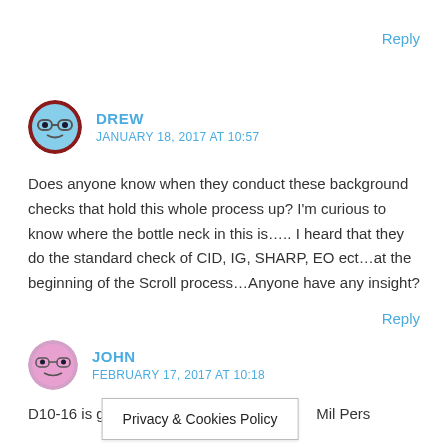Reply
DREW
JANUARY 18, 2017 AT 10:57
Does anyone know when they conduct these background checks that hold this whole process up? I'm curious to know where the bottle neck in this is….. I heard that they do the standard check of CID, IG, SHARP, EO ect…at the beginning of the Scroll process…Anyone have any insight?
Reply
JOHN
FEBRUARY 17, 2017 AT 10:18
D10-16 is grov ... Mil Pers
Privacy & Cookies Policy